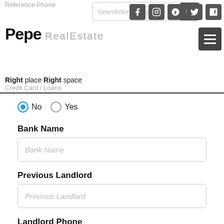Pepe Real Estate — Right place Right space
Credit Card / Loans
No (selected) / Yes (radio buttons)
Bank Name
Previous Landlord
Landlord Phone
Reasons for Moving